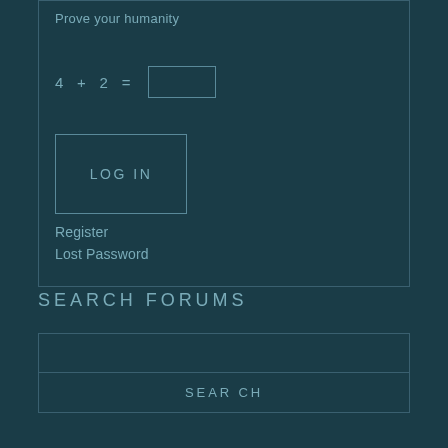Prove your humanity
[Figure (other): Text input box for math captcha answer]
LOG IN
Register
Lost Password
SEARCH FORUMS
[Figure (other): Search text input box]
SEARCH